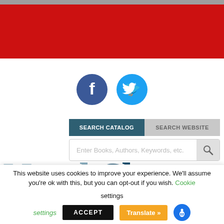[Figure (screenshot): Red header banner at top of webpage]
[Figure (logo): Facebook and Twitter social media icons (circular)]
[Figure (screenshot): Search tabs: SEARCH CATALOG (dark teal) and SEARCH WEBSITE (gray), with search input box below]
NorthShore
This website uses cookies to improve your experience. We'll assume you're ok with this, but you can opt-out if you wish. Cookie settings ACCEPT Translate »